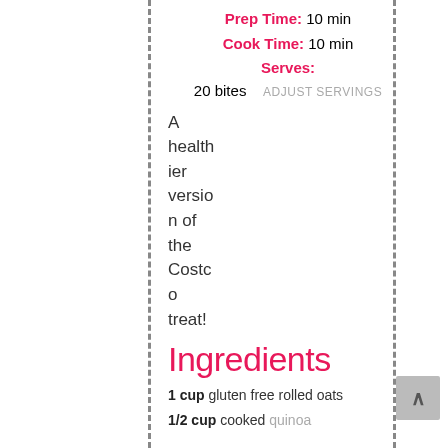Prep Time: 10 min
Cook Time: 10 min
Serves:
20 bites  ADJUST SERVINGS
A healthier version of the Costco treat!
Ingredients
1 cup gluten free rolled oats
1/2 cup cooked quinoa